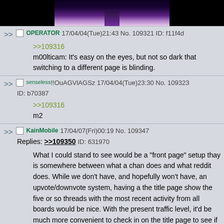[Figure (photo): Dark image showing legs/feet on a stage with purple/lavender spotlight from above]
>> OPERATOR 17/04/04(Tue)21:43 No. 109321 ID: f11f4d
>>109316
m00lticam: It's easy on the eyes, but not so dark that switching to a different page is blinding.
>> senseless!!OuAGVlAGSz 17/04/04(Tue)23:30 No. 109323 ID: b70387
>>109316
m2
>> KainMobile 17/04/07(Fri)00:19 No. 109347 Replies: >>109350 ID: 631970
What I could stand to see would be a "front page" setup thay is somewhere between what a chan does and what reddit does. While we don't have, and hopefully won't have, an upvote/downvote system, having a the title page show the five or so threads with the most recent activity from all boards would be nice. With the present traffic level, it'd be much more convenient to check in on the title page to see if there's been any new posts,